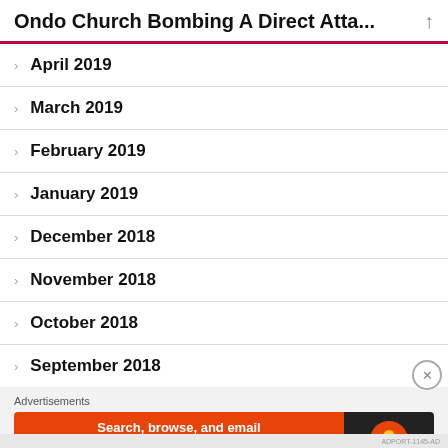Ondo Church Bombing A Direct Atta...
April 2019
March 2019
February 2019
January 2019
December 2018
November 2018
October 2018
September 2018
Advertisements
[Figure (screenshot): DuckDuckGo advertisement banner: 'Search, browse, and email with more privacy. All in One Free App' with DuckDuckGo logo on dark background]